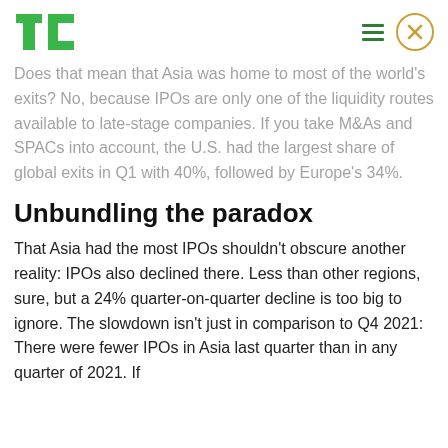TechCrunch logo, hamburger menu, close button
Does that mean that Asia was home to most of the world's exits? No, because IPOs are only one of the liquidity routes available to late-stage companies. If you take M&As and SPACs into account, the U.S. had the largest share of global exits in Q1 with 40%, followed by Europe's 34%.
Unbundling the paradox
That Asia had the most IPOs shouldn't obscure another reality: IPOs also declined there. Less than other regions, sure, but a 24% quarter-on-quarter decline is too big to ignore. The slowdown isn't just in comparison to Q4 2021: There were fewer IPOs in Asia last quarter than in any quarter of 2021. If